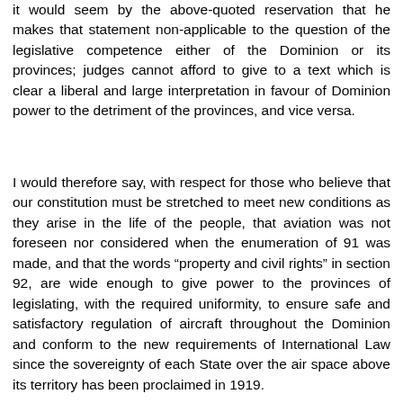it would seem by the above-quoted reservation that he makes that statement non-applicable to the question of the legislative competence either of the Dominion or its provinces; judges cannot afford to give to a text which is clear a liberal and large interpretation in favour of Dominion power to the detriment of the provinces, and vice versa.
I would therefore say, with respect for those who believe that our constitution must be stretched to meet new conditions as they arise in the life of the people, that aviation was not foreseen nor considered when the enumeration of 91 was made, and that the words “property and civil rights” in section 92, are wide enough to give power to the provinces of legislating, with the required uniformity, to ensure safe and satisfactory regulation of aircraft throughout the Dominion and conform to the new requirements of International Law since the sovereignty of each State over the air space above its territory has been proclaimed in 1919.